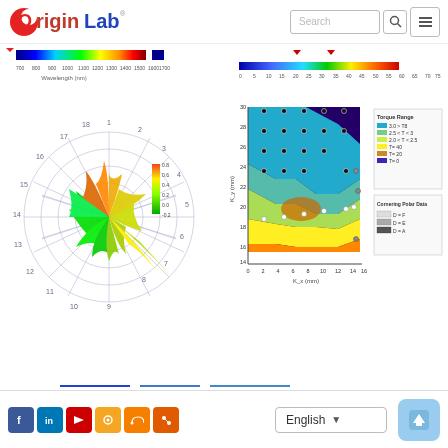[Figure (logo): OriginLab logo with red circle O and blue Lab text]
[Figure (other): Search bar with search icon and hamburger menu icon]
[Figure (continuous-plot): Colorbar for spectral/wavelength data (blue to red gradient), labeled Wavelength (nm) from ~700 to 1700]
[Figure (continuous-plot): Colorbar showing blue to red gradient with numeric scale 0-75]
[Figure (radar-chart): Polar rose / wind rose chart with green and yellow-red colormap sectors on polar grid with numbered axes 1-14]
[Figure (continuous-plot): 2D contour/filled contour plot of torque vs position axes K_x(mm) and K_y(mm) with scatter points, legend for Torque Range and Cornering Polar Data]
[Figure (other): Partially visible line chart at bottom of page]
[Figure (other): Footer with social media icons (Facebook, LinkedIn, YouTube, gear, RSS, community), English language selector, and scroll-to-top button]